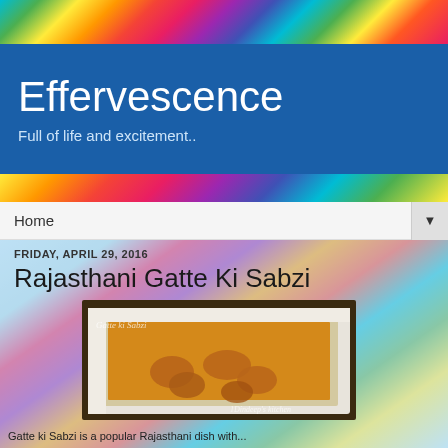[Figure (photo): Tie-dye colorful background top band]
Effervescence
Full of life and excitement..
[Figure (photo): Tie-dye colorful background middle band]
Home ▼
[Figure (photo): Tie-dye colorful background lower section]
FRIDAY, APRIL 29, 2016
Rajasthani Gatte Ki Sabzi
[Figure (photo): Photo of Gatte Ki Sabzi dish in a white bowl with yellow curry and dumplings, watermarked with 'Gatte ki Sabzi' and 'Dindeep's kitchen']
Gatte ki Sabzi is a popular Rajasthani dish with...